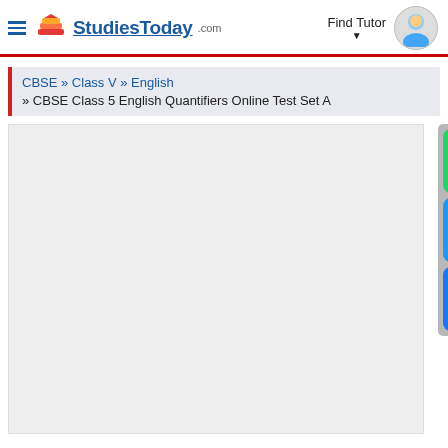StudiesToday.com — Find Tutor
CBSE » Class V » English » CBSE Class 5 English Quantifiers Online Test Set A
[Figure (screenshot): Content area placeholder (gray box) with social share buttons for WhatsApp, Email, and Facebook on the right side]